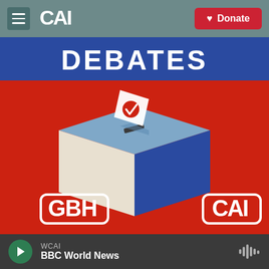CAI | Donate
[Figure (illustration): Illustration of a ballot box with a red check mark on a paper ballot being inserted, on a red background. Text 'DEBATES' in white on a blue banner at top. GBH logo at bottom left, CAI logo at bottom right.]
WCAI | BBC World News